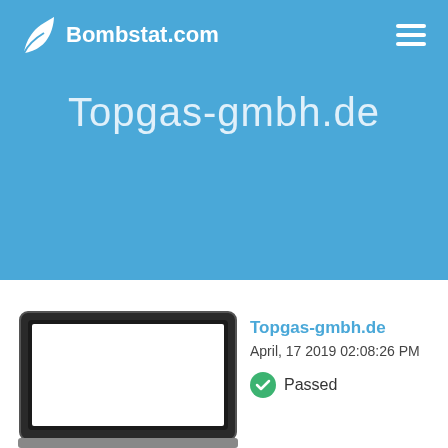Bombstat.com
Topgas-gmbh.de
[Figure (screenshot): Laptop screen mockup showing a website preview]
Topgas-gmbh.de
April, 17 2019 02:08:26 PM
Passed